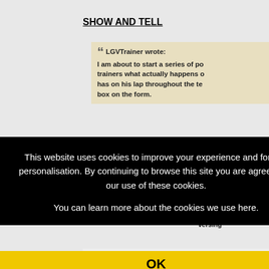SHOW AND TELL
" LGVTrainer wrote:
I am about to start a series of po... trainers what actually happens o... has on his lap throughout the te... box on the form.
g. Sho... ions a... fault (... have s...
versing...
This website uses cookies to improve your experience and for ads personalisation. By continuing to browse this site you are agreeing to our use of these cookies. You can learn more about the cookies we use here.
OK
Following on from previous sub...